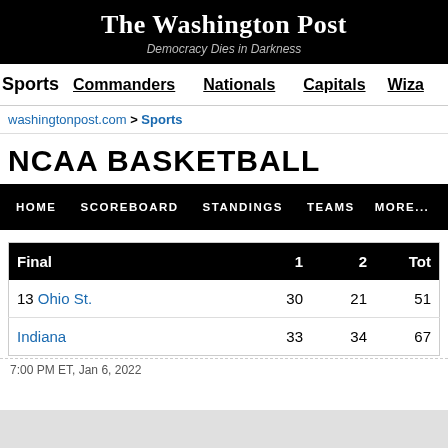The Washington Post — Democracy Dies in Darkness
Sports | Commanders | Nationals | Capitals | Wiza
washingtonpost.com > Sports
NCAA BASKETBALL
HOME | SCOREBOARD | STANDINGS | TEAMS | MORE...
| Final | 1 | 2 | Tot |
| --- | --- | --- | --- |
| 13 Ohio St. | 30 | 21 | 51 |
| Indiana | 33 | 34 | 67 |
7:00 PM ET, Jan 6, 2022